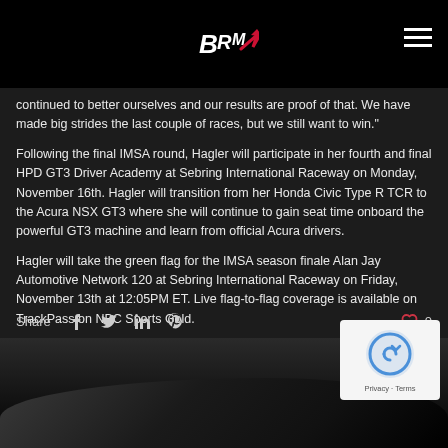BRM Logo header with hamburger menu
continued to better ourselves and our results are proof of that. We have made big strides the last couple of races, but we still want to win."
Following the final IMSA round, Hagler will participate in her fourth and final HPD GT3 Driver Academy at Sebring International Raceway on Monday, November 16th. Hagler will transition from her Honda Civic Type R TCR to the Acura NSX GT3 where she will continue to gain seat time onboard the powerful GT3 machine and learn from official Acura drivers.
Hagler will take the green flag for the IMSA season finale Alan Jay Automotive Network 120 at Sebring International Raceway on Friday, November 13th at 12:05PM ET. Live flag-to-flag coverage is available on TrackPass on NBC Sports Gold.
Share  0